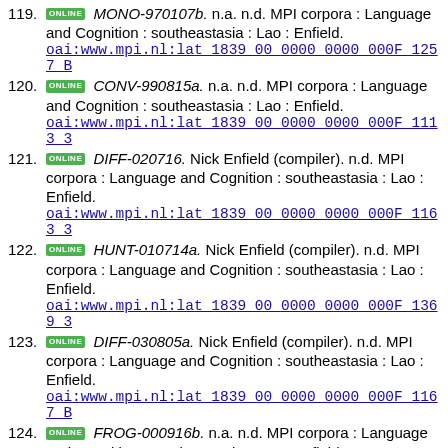119. [ONLINE] MONO-970107b. n.a. n.d. MPI corpora : Language and Cognition : southeastasia : Lao : Enfield. oai:www.mpi.nl:lat_1839_00_0000_0000_000F_1257_B
120. [ONLINE] CONV-990815a. n.a. n.d. MPI corpora : Language and Cognition : southeastasia : Lao : Enfield. oai:www.mpi.nl:lat_1839_00_0000_0000_000F_1113_3
121. [ONLINE] DIFF-020716. Nick Enfield (compiler). n.d. MPI corpora : Language and Cognition : southeastasia : Lao : Enfield. oai:www.mpi.nl:lat_1839_00_0000_0000_000F_1163_3
122. [ONLINE] HUNT-010714a. Nick Enfield (compiler). n.d. MPI corpora : Language and Cognition : southeastasia : Lao : Enfield. oai:www.mpi.nl:lat_1839_00_0000_0000_000F_1369_3
123. [ONLINE] DIFF-030805a. Nick Enfield (compiler). n.d. MPI corpora : Language and Cognition : southeastasia : Lao : Enfield. oai:www.mpi.nl:lat_1839_00_0000_0000_000F_1167_B
124. [ONLINE] FROG-000916b. n.a. n.d. MPI corpora : Language and Cognition : southeastasia : Lao : Enfield. oai:www.mpi.nl:lat_1839_00_0000_0000_000F_11B3_C
125. [ONLINE] DIFF-030802c. Nick Enfield (compiler). n.d. MPI corpora : Language and Cognition : southeastasia : Lao : Enfield. oai:www.mpi.nl:lat_1839_00_0000_0000_000F_1169_3
126. [ONLINE] CONV-020712. n.a. n.d. MPI corpora : Language and Cognition : southeastasia : Lao : Enfield. oai:www.mpi.nl:lat_1839_00_0000_0000_000F_1129_4